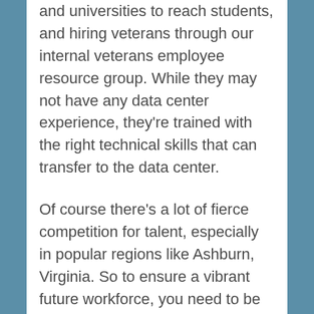and universities to reach students, and hiring veterans through our internal veterans employee resource group. While they may not have any data center experience, they're trained with the right technical skills that can transfer to the data center.
Of course there's a lot of fierce competition for talent, especially in popular regions like Ashburn, Virginia. So to ensure a vibrant future workforce, you need to be giving your employees good benefits, a supportive culture and successful work environment. We have a